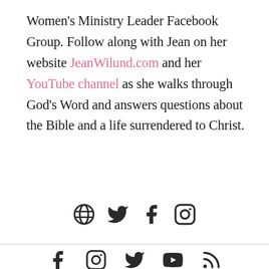Women's Ministry Leader Facebook Group. Follow along with Jean on her website JeanWilund.com and her YouTube channel as she walks through God's Word and answers questions about the Bible and a life surrendered to Christ.
[Figure (other): Row of four social media icons: globe/website, Twitter bird, Facebook f, Instagram camera]
[Figure (other): Row of five social media icons at bottom: Facebook f, Instagram camera, Twitter bird, YouTube play button, RSS feed]